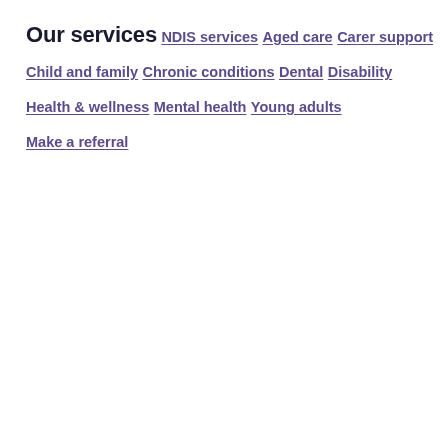Our services
NDIS services
Aged care
Carer support
Child and family
Chronic conditions
Dental
Disability
Health & wellness
Mental health
Young adults
Make a referral